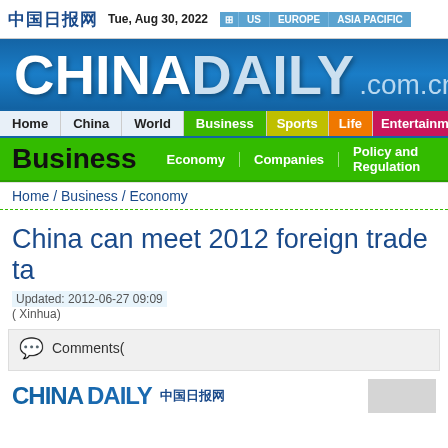中国日报网  Tue, Aug 30, 2022  |  US  |  EUROPE  |  ASIA PACIFIC
[Figure (logo): China Daily .com.cn blue banner logo]
Home | China | World | Business | Sports | Life | Entertainment | Ph...
Business  Economy  Companies  Policy and Regulation
Home / Business / Economy
China can meet 2012 foreign trade ta...
Updated: 2012-06-27 09:09
( Xinhua)
Comments(
[Figure (logo): China Daily 中国日报网 com.cn bottom logo]